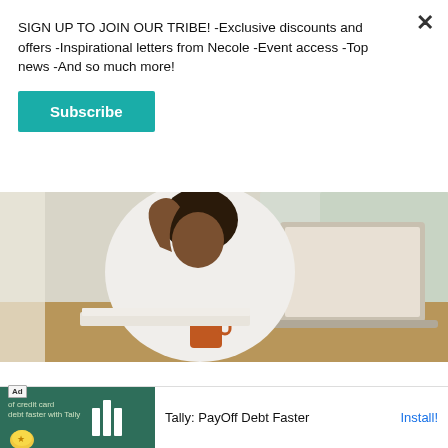SIGN UP TO JOIN OUR TRIBE! -Exclusive discounts and offers -Inspirational letters from Necole -Event access -Top news -And so much more!
Subscribe
[Figure (photo): Woman in white shirt sitting at a desk with a laptop and orange coffee mug, near windows with natural light]
Being a Black woman in this world means being your biggest advocate, no matter who is standing beside you or not. There is something about a Black
[Figure (infographic): Ad banner: Tally: PayOff Debt Faster with Install button]